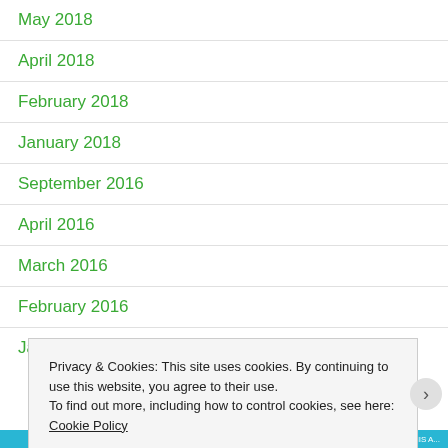May 2018
April 2018
February 2018
January 2018
September 2016
April 2016
March 2016
February 2016
January 2016
Privacy & Cookies: This site uses cookies. By continuing to use this website, you agree to their use.
To find out more, including how to control cookies, see here: Cookie Policy
Close and accept